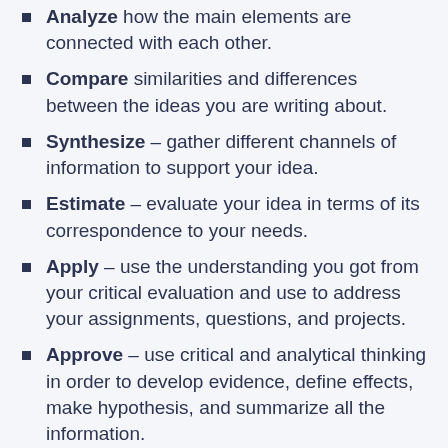Analyze how the main elements are connected with each other.
Compare similarities and differences between the ideas you are writing about.
Synthesize – gather different channels of information to support your idea.
Estimate – evaluate your idea in terms of its correspondence to your needs.
Apply – use the understanding you got from your critical evaluation and use to address your assignments, questions, and projects.
Approve – use critical and analytical thinking in order to develop evidence, define effects, make hypothesis, and summarize all the information.
If you are hesitating in asking for help at out custom writing center, we can tell you that nobody can make it better than our expert